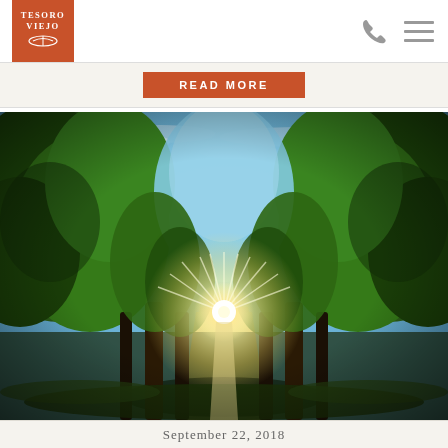[Figure (logo): Tesoro Viejo logo: orange/burnt-red square with white text 'TESORO VIEJO' and a decorative wave/hat icon]
[Figure (other): Phone icon (handset silhouette) and hamburger menu icon in gray, in the top-right navigation bar]
READ MORE
[Figure (photo): Landscape photograph looking down a tree-lined path with large leafy green trees on both sides forming a canopy, sunburst/starburst light effect at the center horizon, green grass below, blue sky with wispy clouds above]
September 22, 2018